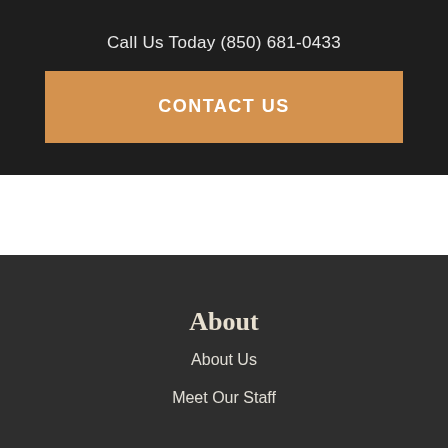Call Us Today (850) 681-0433
CONTACT US
About
About Us
Meet Our Staff